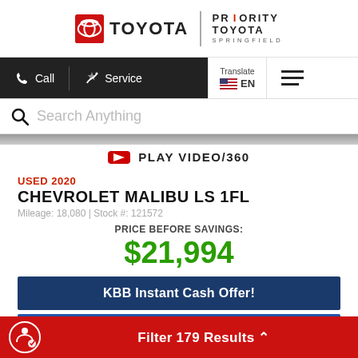[Figure (logo): Toyota logo with red oval emblem, text TOYOTA, vertical divider, and Priority Toyota Springfield dealer logo]
[Figure (screenshot): Navigation bar with Call and Service buttons on dark background, Translate/EN flag selector, and hamburger menu]
Search Anything
[Figure (screenshot): Gray gradient bar at top of car listing area]
PLAY VIDEO/360
USED 2020
CHEVROLET MALIBU LS 1FL
Mileage: 18,080 | Stock #: 121572
PRICE BEFORE SAVINGS:
$21,994
KBB Instant Cash Offer!
Filter 179 Results